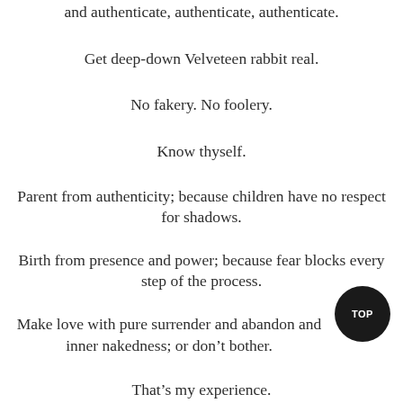and authenticate, authenticate, authenticate.
Get deep-down Velveteen rabbit real.
No fakery. No foolery.
Know thyself.
Parent from authenticity; because children have no respect for shadows.
Birth from presence and power; because fear blocks every step of the process.
Make love with pure surrender and abandon and inner nakedness; or don't bother.
That's my experience.